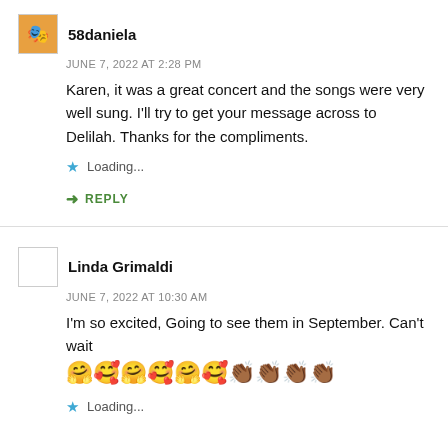58daniela
JUNE 7, 2022 AT 2:28 PM
Karen, it was a great concert and the songs were very well sung. I’ll try to get your message across to Delilah. Thanks for the compliments.
Loading...
REPLY
Linda Grimaldi
JUNE 7, 2022 AT 10:30 AM
I’m so excited, Going to see them in September. Can’t wait 🤗🥰🤗🥰🤗🥰👏🏾👏🏾👏🏾👏🏾
Loading...